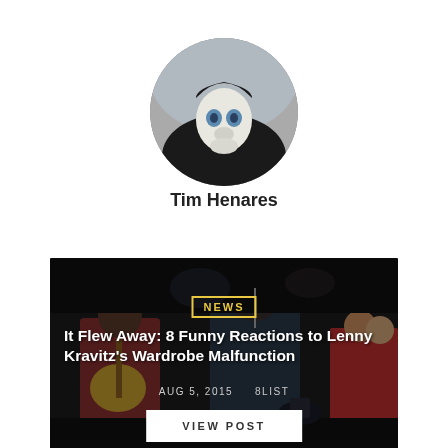[Figure (photo): Circular avatar profile photo showing a figure in a white mask or costume viewed from below against a grey sky]
Tim Henares
[Figure (photo): Dark background image of musicians performing on stage, with overlaid text: NEWS badge, article title 'It Flew Away: 8 Funny Reactions to Lenny Kravitz's Wardrobe Malfunction', date AUG 5, 2015, tag 8LIST, and a VIEW POST button]
It Flew Away: 8 Funny Reactions to Lenny Kravitz's Wardrobe Malfunction
AUG 5, 2015   8LIST